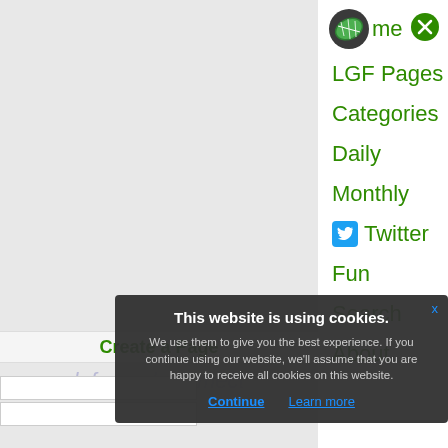[Figure (logo): LGF website navigation menu with logo (green football), close button, and menu items: Home, LGF Pages, Categories, Daily, Monthly, Twitter, Fun, Search, About]
Home
LGF Pages
Categories
Daily
Monthly
Twitter
Fun
Search
About
Create a Page
lgfnusndc.ccmect
This website is using cookies.
We use them to give you the best experience. If you continue using our website, we'll assume that you are happy to receive all cookies on this website.
Continue
Learn more